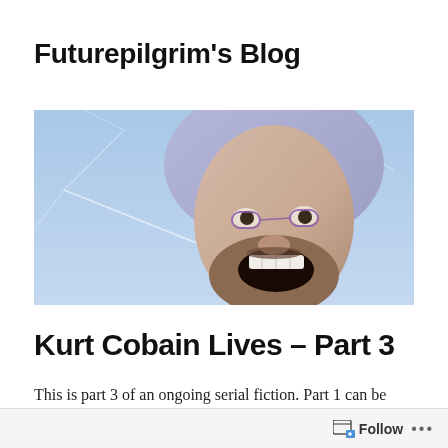Futurepilgrim's Blog
[Figure (photo): Close-up photo of a person with mouth wide open, wearing a blue/purple head covering and small round glasses, against a light blue sky background — dramatic screaming expression]
Kurt Cobain Lives – Part 3
This is part 3 of an ongoing serial fiction. Part 1 can be found here and part 2 here.
Follow ...